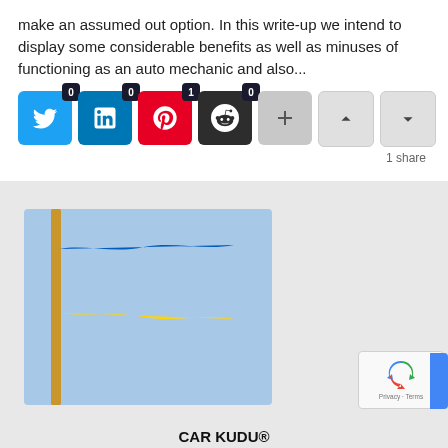make an assumed out option. In this write-up we intend to display some considerable benefits as well as minuses of functioning as an auto mechanic and also...
[Figure (infographic): Social share buttons row: Twitter (0), LinkedIn (0), Pinterest (1), Reddit (0), plus button, up arrow, down arrow]
1 share
[Figure (photo): Ukrainian flag waving on a pole against a light blue sky background]
[Figure (other): reCAPTCHA widget with Privacy · Terms text and blue side bar]
CAR KUDU®